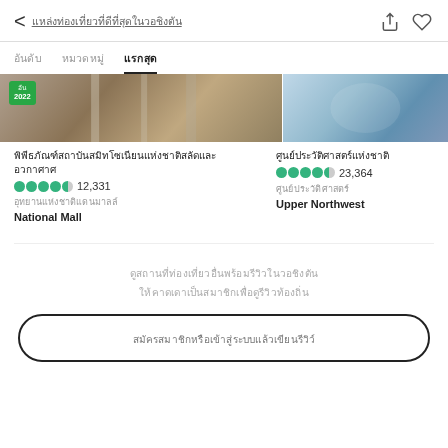< [navigation link] [share icon] [heart icon]
[tab1]  [tab2]  [tab3 active]
[Figure (photo): Two cropped photos side by side: left shows an interior building shot with a green 2022 badge; right shows an exterior or artifact photo]
[Thai script title - left listing] 12,331 reviews [Thai subtitle] National Mall
[Thai script title - right listing] 23,364 reviews [Thai subtitle] Upper Northwest
[Thai placeholder text line 1] [Thai placeholder text line 2]
[button: Thai placeholder text]